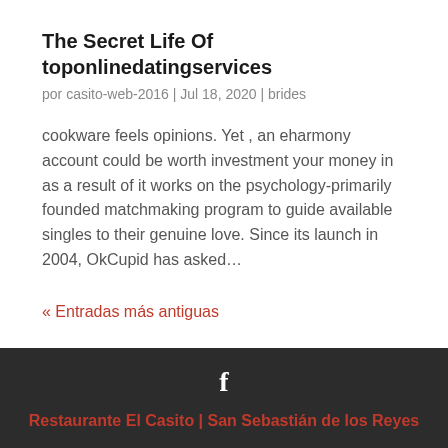The Secret Life Of toponlinedatingservices
por casito-web-2016 | Jul 18, 2020 | brides
cookware feels opinions. Yet , an eharmony account could be worth investment your money in as a result of it works on the psychology-primarily founded matchmaking program to guide available singles to their genuine love. Since its launch in 2004, OkCupid has asked…
« Entradas más antiguas
f
Restaurante El Casito | San Sebastián de los Reyes